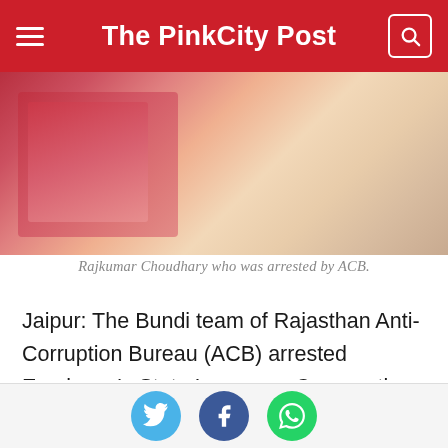The PinkCity Post
[Figure (photo): Close-up photo of a desk with a red/pink folder and other items, partial view]
Rajkumar Choudhary who was arrested by ACB.
Jaipur: The Bundi team of Rajasthan Anti-Corruption Bureau (ACB) arrested Employee's State Insurance Cooperation Inspector Rajkumar Choudhary after he was allegedly caught accepting a bribe of Rs 10,000 on Wednesday. The ACB laid the trap at Santokba